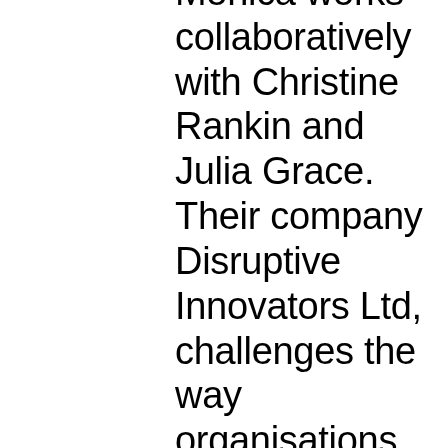Monica works collaboratively with Christine Rankin and Julia Grace. Their company Disruptive Innovators Ltd, challenges the way organisations function. Under the brand 'Organised Chaos' they challenge 'how things are